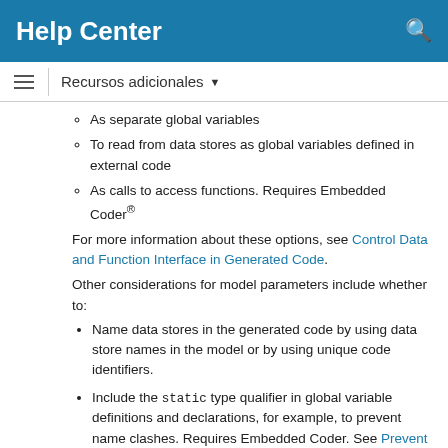Help Center
Recursos adicionales
As separate global variables
To read from data stores as global variables defined in external code
As calls to access functions. Requires Embedded Coder®
For more information about these options, see Control Data and Function Interface in Generated Code.
Other considerations for model parameters include whether to:
Name data stores in the generated code by using data store names in the model or by using unique code identifiers.
Include the static type qualifier in global variable definitions and declarations, for example, to prevent name clashes. Requires Embedded Coder. See Prevent Name Clashes by Configuring Data Item as static.
Include the volatile type qualifier in global variable definitions and declarations. Requires Embedded Coder. See Protect Global Data with const and volatile Type Qualifiers.